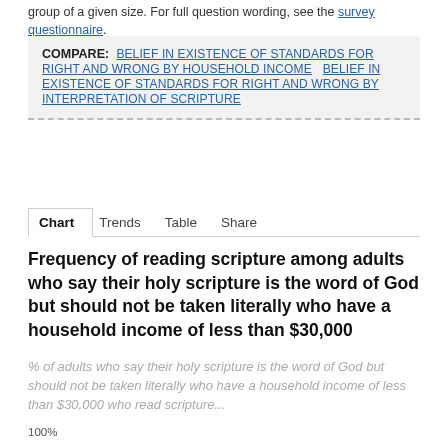group of a given size. For full question wording, see the survey questionnaire.
COMPARE: BELIEF IN EXISTENCE OF STANDARDS FOR RIGHT AND WRONG BY HOUSEHOLD INCOME  BELIEF IN EXISTENCE OF STANDARDS FOR RIGHT AND WRONG BY INTERPRETATION OF SCRIPTURE
Chart  Trends  Table  Share
Frequency of reading scripture among adults who say their holy scripture is the word of God but should not be taken literally who have a household income of less than $30,000
% of adults who say their holy scripture is the word of God but should not be taken literally who have a household income of less than $30,000 who read scripture...
100%